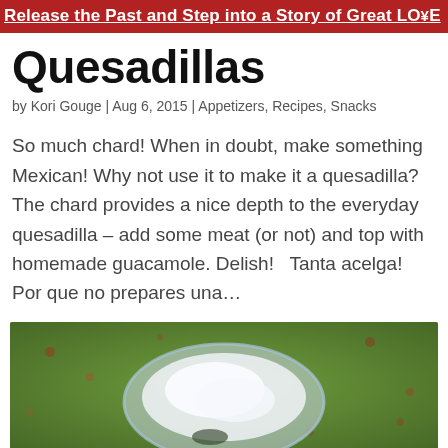Release the Past and Step into a Story of Great LOVE
Quesadillas
by Kori Gouge | Aug 6, 2015 | Appetizers, Recipes, Snacks
So much chard! When in doubt, make something Mexican! Why not use it to make it a quesadilla? The chard provides a nice depth to the everyday quesadilla – add some meat (or not) and top with homemade guacamole. Delish!   Tanta acelga! Por que no prepares una...
[Figure (photo): A bowl of what appears to be a cream or white-colored dip or guacamole on a green background]